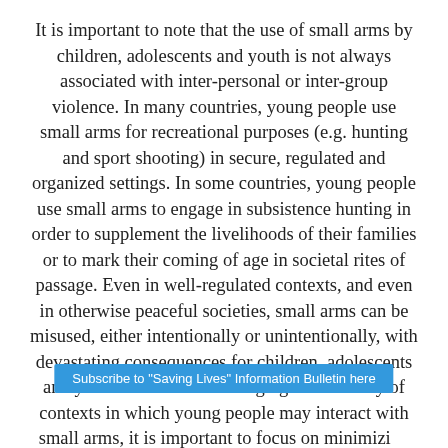It is important to note that the use of small arms by children, adolescents and youth is not always associated with inter-personal or inter-group violence. In many countries, young people use small arms for recreational purposes (e.g. hunting and sport shooting) in secure, regulated and organized settings. In some countries, young people use small arms to engage in subsistence hunting in order to supplement the livelihoods of their families or to mark their coming of age in societal rites of passage. Even in well-regulated contexts, and even in otherwise peaceful societies, small arms can be misused, either intentionally or unintentionally, with devastating consequences for children, adolescents and youth. While acknowledging the diversity of contexts in which young people may interact with small arms, it is important to focus on minimizing the risks they pose to this age-group. In addition, the active and meaningful
Subscribe to "Saving Lives" Information Bulletin here